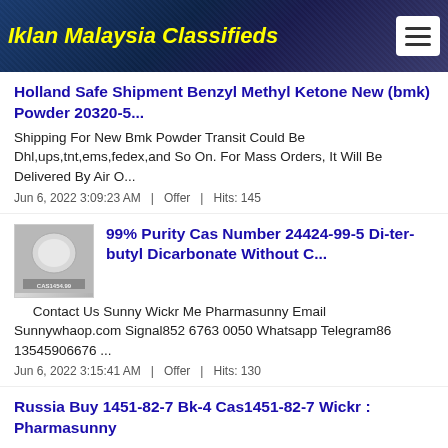Iklan Malaysia Classifieds
Holland Safe Shipment Benzyl Methyl Ketone New (bmk) Powder 20320-5...
Shipping For New Bmk Powder Transit Could Be Dhl,ups,tnt,ems,fedex,and So On. For Mass Orders, It Will Be Delivered By Air O...
Jun 6, 2022 3:09:23 AM  |  Offer  |  Hits: 145
[Figure (photo): Product thumbnail image for Di-ter-butyl Dicarbonate listing]
99% Purity Cas Number 24424-99-5 Di-ter-butyl Dicarbonate Without C...
Contact Us Sunny Wickr Me Pharmasunny Email Sunnywhaop.com Signal852 6763 0050 Whatsapp Telegram86 13545906676 ...
Jun 6, 2022 3:15:41 AM  |  Offer  |  Hits: 130
Russia Buy 1451-82-7 Bk-4 Cas1451-82-7 Wickr : Pharmasunny
Contact Us Sunny Email Sunnywhaop.com Himailboxprotonmail.com Whatsapp Skype86 13545906676 Wickr Me Telegram Pharmasunny ...
Jun 6, 2022 3:17:22 AM  |  Offer  |  Hits: 105